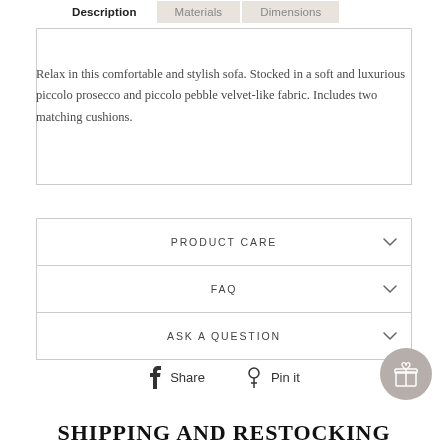Description | Materials | Dimensions
Relax in this comfortable and stylish sofa. Stocked in a soft and luxurious piccolo prosecco and piccolo pebble velvet-like fabric. Includes two matching cushions.
PRODUCT CARE
FAQ
ASK A QUESTION
Share  Pin it
SHIPPING AND RESTOCKING